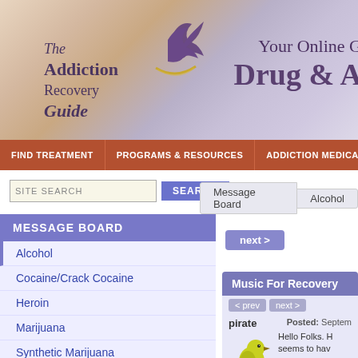The Addiction Recovery Guide — Your Online Guide to Drug & A[ddiction]
FIND TREATMENT | PROGRAMS & RESOURCES | ADDICTION MEDICATIO[NS]
SITE SEARCH [input] SEARCH | Message Board > Alcohol
MESSAGE BOARD
Alcohol
Cocaine/Crack Cocaine
Heroin
Marijuana
Synthetic Marijuana
Methadone
Methamphetamines
Nicotine
Pain Pills
next >
Music For Recovery
< prev   next >
pirate
[Figure (illustration): Yellow bird perched on a branch]
Posted: Septem[ber...]
Hello Folks. H[ello...] seems to hav[e...] so trying a ne[w...] music links se[en...]